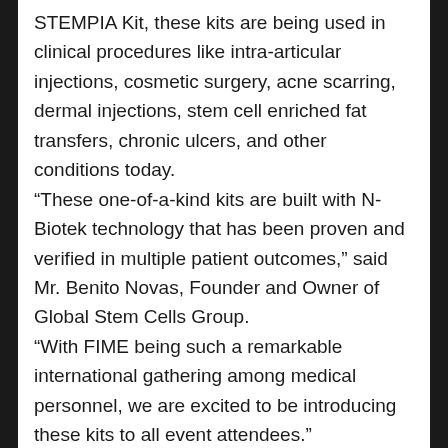STEMPIA Kit, these kits are being used in clinical procedures like intra-articular injections, cosmetic surgery, acne scarring, dermal injections, stem cell enriched fat transfers, chronic ulcers, and other conditions today. “These one-of-a-kind kits are built with N-Biotek technology that has been proven and verified in multiple patient outcomes,” said Mr. Benito Novas, Founder and Owner of Global Stem Cells Group. “With FIME being such a remarkable international gathering among medical personnel, we are excited to be introducing these kits to all event attendees.” The SVF Kits are sterilized ADSC isolation close systems with proprietary technology that guarantees the highest yield and viability for minimizing